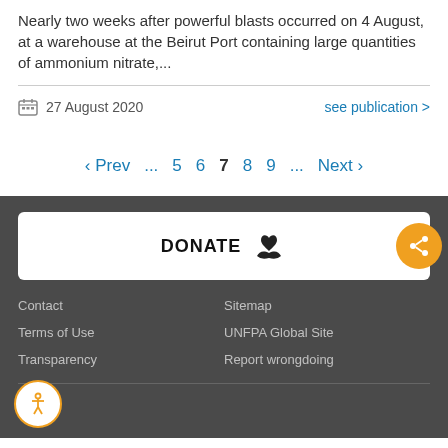Nearly two weeks after powerful blasts occurred on 4 August, at a warehouse at the Beirut Port containing large quantities of ammonium nitrate,...
27 August 2020
see publication >
‹ Prev ... 5 6 7 8 9 ... Next ›
[Figure (other): DONATE button with heart/hand icon and orange share button]
Contact | Sitemap | Terms of Use | UNFPA Global Site | Transparency | Report wrongdoing